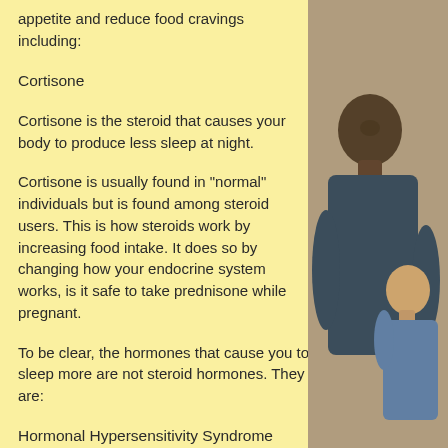appetite and reduce food cravings including:
Cortisone
Cortisone is the steroid that causes your body to produce less sleep at night.
Cortisone is usually found in "normal" individuals but is found among steroid users. This is how steroids work by increasing food intake. It does so by changing how your endocrine system works, is it safe to take prednisone while pregnant.
To be clear, the hormones that cause you to sleep more are not steroid hormones. They are:
Hormonal Hypersensitivity Syndrome
HIP (Hypothalamic-Pituitary-Adrenal)
[Figure (photo): Two people smiling and laughing together, one adult and one child, photographed from the side/behind]